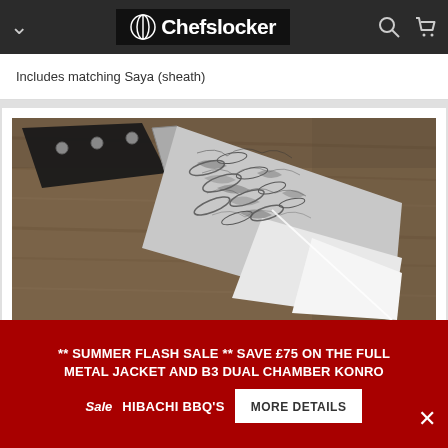Chefslocker
Includes matching Saya (sheath)
[Figure (photo): A Japanese chef's knife with a black handle and Damascus-style hammered steel blade, photographed diagonally on a dark wood surface.]
** SUMMER FLASH SALE ** SAVE £75 ON THE FULL METAL JACKET AND B3 DUAL CHAMBER KONRO HIBACHI BBQ'S MORE DETAILS